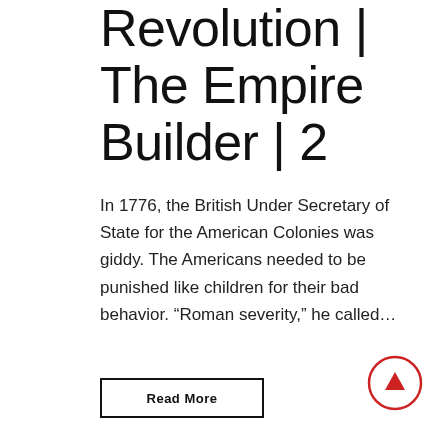Revolution | The Empire Builder | 2
In 1776, the British Under Secretary of State for the American Colonies was giddy. The Americans needed to be punished like children for their bad behavior. “Roman severity,” he called...
Read More
[Figure (illustration): A red circle with a small red filled upward-pointing triangle (play/scroll-up arrow) in the center.]